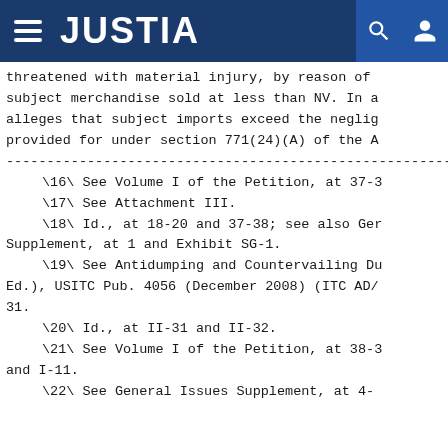JUSTIA
threatened with material injury, by reason of subject merchandise sold at less than NV. In a alleges that subject imports exceed the neglig provided for under section 771(24)(A) of the A
------------------------------------------------------------------------
\16\ See Volume I of the Petition, at 37-3
\17\ See Attachment III.
\18\ Id., at 18-20 and 37-38; see also Ger Supplement, at 1 and Exhibit SG-1.
\19\ See Antidumping and Countervailing Du Ed.), USITC Pub. 4056 (December 2008) (ITC AD/ 31.
\20\ Id., at II-31 and II-32.
\21\ See Volume I of the Petition, at 38-3 and I-11.
\22\ See General Issues Supplement, at 4-